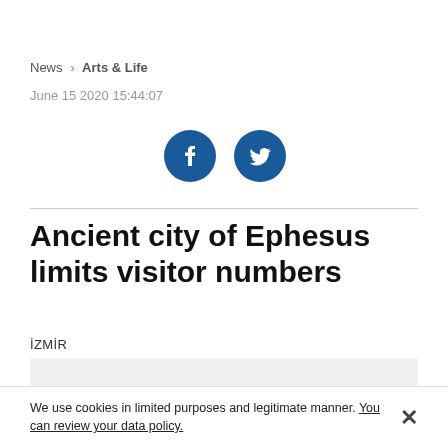News > Arts & Life
June 15 2020 15:44:07
[Figure (illustration): Social media share buttons: Facebook and Twitter icons as dark blue circular buttons]
Ancient city of Ephesus limits visitor numbers
İZMİR
[Figure (photo): Gray placeholder image area]
We use cookies in limited purposes and legitimate manner. You can review your data policy.